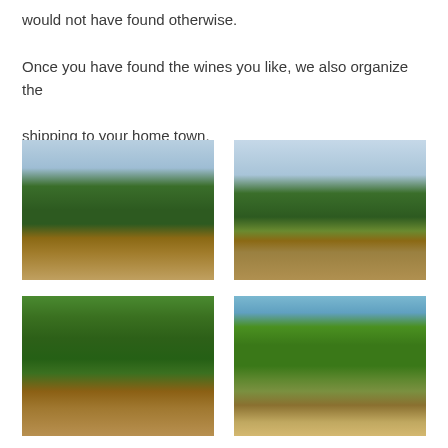would not have found otherwise.

Once you have found the wines you like, we also organize the shipping to your home town.
[Figure (photo): Vineyard rows with grapevines under cloudy sky, close-up view]
[Figure (photo): Vineyard rows with grapevines stretching into the distance under cloudy sky]
[Figure (photo): Close-up of grapevine leaves and clusters of dark grapes]
[Figure (photo): Vineyard rows with young vines under blue sky with hills in background]